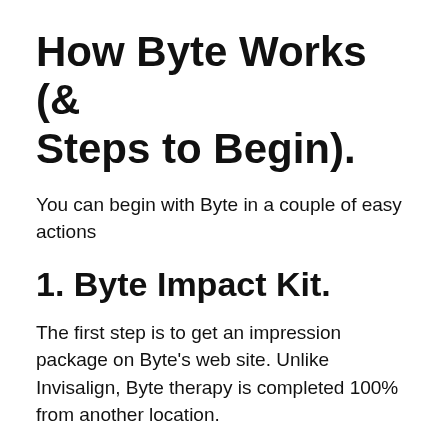How Byte Works (& Steps to Begin).
You can begin with Byte in a couple of easy actions
1. Byte Impact Kit.
The first step is to get an impression package on Byte’s web site. Unlike Invisalign, Byte therapy is completed 100% from another location.
The kit should arrive within a week. Once you receive it, take the teeth impacts making use of the perception tray, smile cot, and also putty.